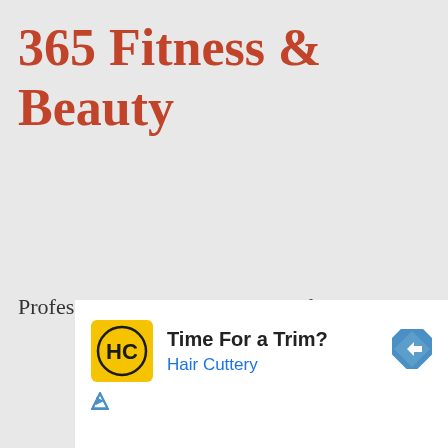365 Fitness & Beauty
Professional Fitness and Beauty f...
[Figure (infographic): Advertisement for Hair Cuttery with logo, headline 'Time For a Trim?', subtext 'Hair Cuttery', navigation arrow icon, and ad disclosure triangle icon.]